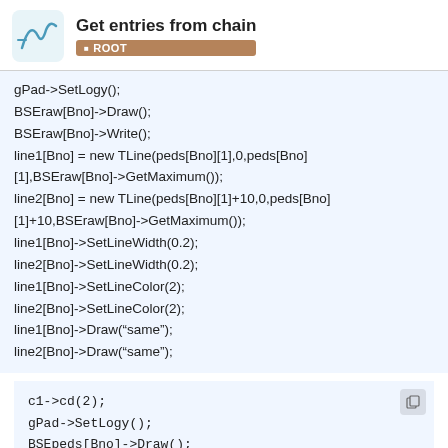Get entries from chain
ROOT
gPad->SetLogy();
BSEraw[Bno]->Draw();
BSEraw[Bno]->Write();
line1[Bno] = new TLine(peds[Bno][1],0,peds[Bno][1],BSEraw[Bno]->GetMaximum());
line2[Bno] = new TLine(peds[Bno][1]+10,0,peds[Bno][1]+10,BSEraw[Bno]->GetMaximum());
line1[Bno]->SetLineWidth(0.2);
line2[Bno]->SetLineWidth(0.2);
line1[Bno]->SetLineColor(2);
line2[Bno]->SetLineColor(2);
line1[Bno]->Draw(“same”);
line2[Bno]->Draw(“same”);
c1->cd(2);
gPad->SetLogy();
BSEpeds[Bno]->Draw();
BSEpeds[Bno]->Write();
c1->Update();